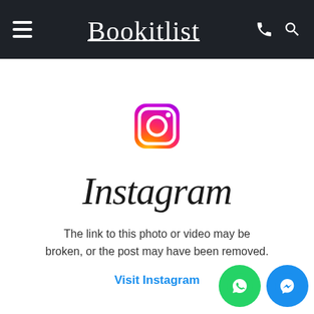Bookitlist — navigation header with hamburger menu, logo, phone and search icons
[Figure (logo): Instagram camera icon with gradient (yellow-orange-pink-purple)]
Instagram
The link to this photo or video may be broken, or the post may have been removed.
Visit Instagram
[Figure (illustration): WhatsApp green circle chat button and Facebook Messenger blue circle button, bottom right corner]